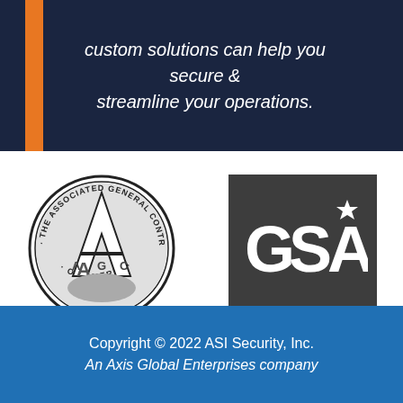custom solutions can help you secure & streamline your operations.
[Figure (logo): AGC - The Associated General Contractors of America circular seal logo in black and white]
[Figure (logo): GSA logo: white text 'GSA' with a small star on dark gray square background]
Copyright © 2022 ASI Security, Inc.
An Axis Global Enterprises company